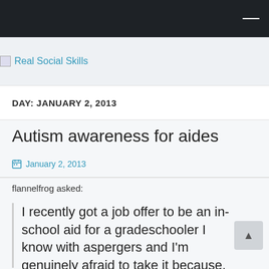Real Social Skills
DAY: JANUARY 2, 2013
Autism awareness for aides
January 2, 2013
flannelfrog asked:
I recently got a job offer to be an in-school aid for a gradeschooler I know with aspergers and I'm genuinely afraid to take it because, while I